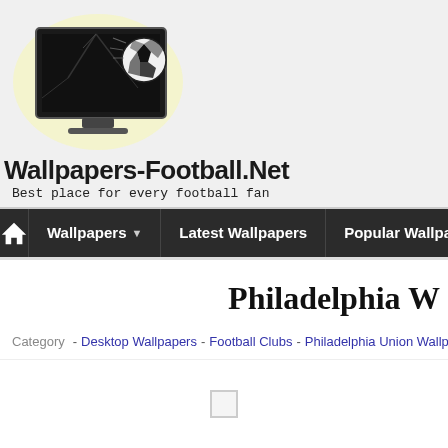[Figure (logo): Wallpapers-Football.Net website logo showing a cracked TV/monitor screen with a soccer ball breaking through, black and white image with yellow glow effect]
Wallpapers-Football.Net
Best place for every football fan
Home | Wallpapers ▼ | Latest Wallpapers | Popular Wallpapers | Rando
Philadelphia W
Category - Desktop Wallpapers - Football Clubs - Philadelphia Union Wallpa